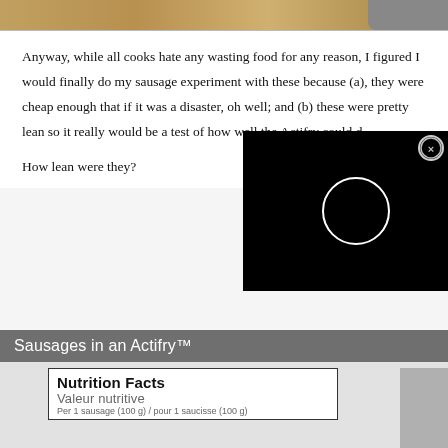[Figure (photo): Top portion of a food/cooking image, showing a wooden surface, partial view cropped at top of page.]
Anyway, while all cooks hate any wasting food for any reason, I figured I would finally do my sausage experiment with these because (a), they were cheap enough that if it was a disaster, oh well; and (b) these were pretty lean so it really would be a test of how well the Actifry could d
[Figure (screenshot): A black video player overlay with a white circular loading spinner, and a close (X) button in the top-right corner.]
How lean were they?
[Figure (photo): Bottom image showing a nutrition facts label for sausages. Title bar reads 'Sausages in an Actifry™'. The nutrition label shows 'Nutrition Facts / Valeur nutritive / Per 1 sausage (100 g) / pour 1 saucisse (100 g)'.]